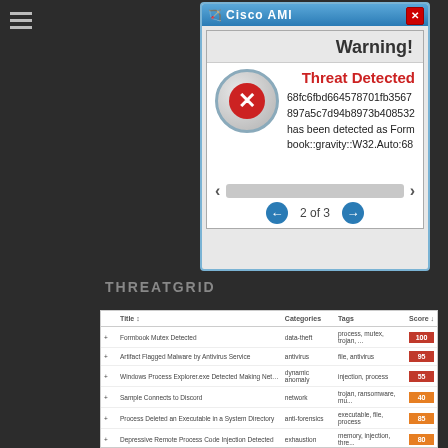[Figure (screenshot): Cisco AMP warning dialog showing threat detection: hash 68fc6fbd664578701fb3567897a5c7d94b8973b408532 detected as Formbook::gravity::W32.Auto:68, page 2 of 3]
THREATGRID
|  | Title | Categories | Tags | Score |
| --- | --- | --- | --- | --- |
| + | Formbook Mutex Detected | data-theft | process, mutex, trojan, ... | 100 |
| + | Artifact Flagged Malware by Antivirus Service | antivirus | file, antivirus | 95 |
| + | Windows Process Explorer.exe Detected Making Network C... | dynamic anomaly | injection, process | 55 |
| + | Sample Connects to Discord | network | trojan, ransomware, mu... | 40 |
| + | Process Deleted an Executable in a System Directory | anti-forensics | executable, file, process | 85 |
| + | Depressive Remote Process Code Injection Detected | exhaustion | memory, injection, thre... | 80 |
| + | Static Analysis Flagged Artifact As Potentially Obfuscated | obfuscation | obfuscation, static | 56 |